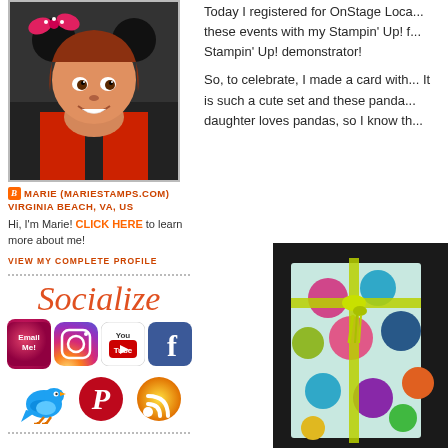[Figure (photo): Profile photo of Marie wearing Minnie Mouse ears at what appears to be a theme park]
MARIE (MARIESTAMPS.COM)
VIRGINIA BEACH, VA, US
Hi, I'm Marie! CLICK HERE to learn more about me!
VIEW MY COMPLETE PROFILE
[Figure (infographic): Socialize section with social media icons: Email Me, Instagram, YouTube, Facebook, Twitter, Pinterest, RSS feed]
Today I registered for OnStage Loca... these events with my Stampin' Up! f... Stampin' Up! demonstrator!
So, to celebrate, I made a card with... It is such a cute set and these panda... daughter loves pandas, so I know th...
[Figure (photo): Handmade card with colorful polka dot pattern and ribbon, on dark background]